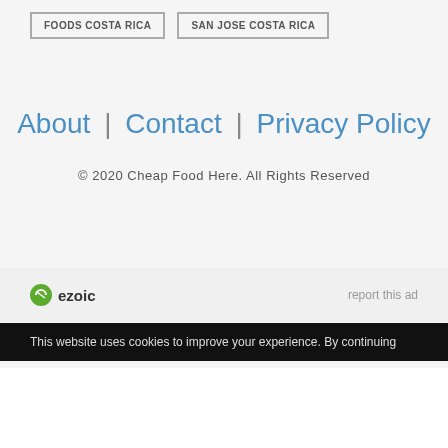FOODS COSTA RICA
SAN JOSE COSTA RICA
About | Contact | Privacy Policy
© 2020 Cheap Food Here. All Rights Reserved
[Figure (logo): Ezoic logo with green circular icon and 'ezoic' wordmark]
report this ad
This website uses cookies to improve your experience. By continuing